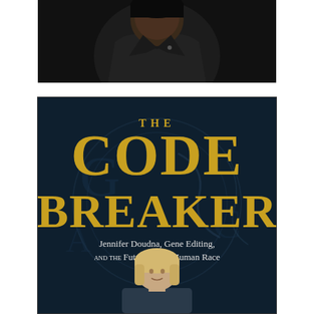[Figure (photo): Close-up photograph of a person wearing a dark jacket, upper body and face visible against dark background]
[Figure (photo): Book cover of 'The Code Breaker' by Walter Isaacson featuring title text in large gold letters on dark teal background with subtitle 'Jennifer Doudna, Gene Editing, and the Future of the Human Race' and an image of a woman with blonde hair at the bottom]